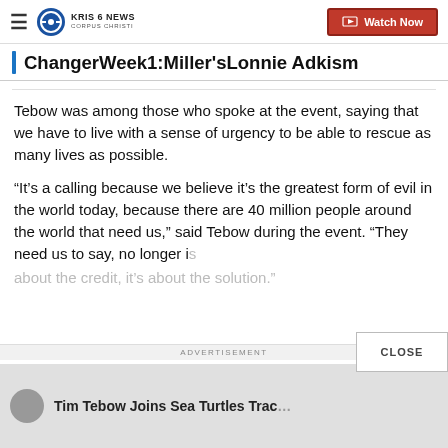KRIS 6 NEWS CORPUS CHRISTI | Watch Now
ChangerWeek1:Miller'sLonnie Adkism
Tebow was among those who spoke at the event, saying that we have to live with a sense of urgency to be able to rescue as many lives as possible.
“It’s a calling because we believe it’s the greatest form of evil in the world today, because there are 40 million people around the world that need us,” said Tebow during the event. “They need us to say, no longer i[s it] about the credit, it’s about the solution.”
ADVERTISEMENT
[Figure (screenshot): Bottom promo bar showing Tim Tebow video thumbnail with text]